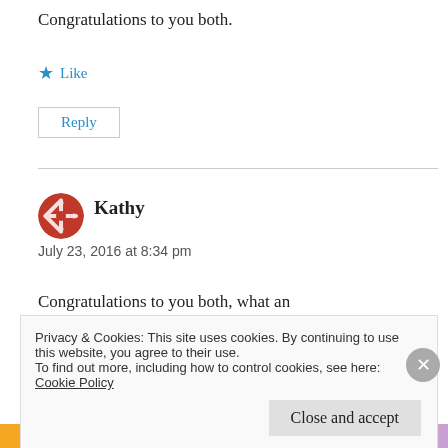Congratulations to you both.
★ Like
Reply
Kathy
July 23, 2016 at 8:34 pm
Congratulations to you both, what an
Privacy & Cookies: This site uses cookies. By continuing to use this website, you agree to their use.
To find out more, including how to control cookies, see here:
Cookie Policy
Close and accept